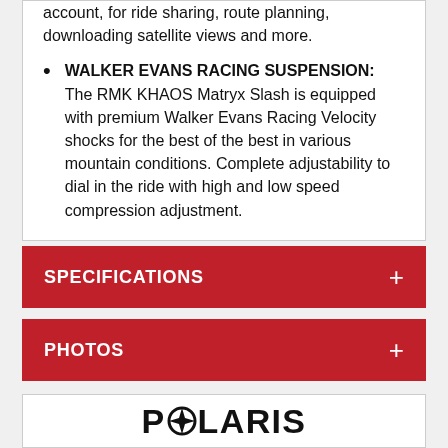account, for ride sharing, route planning, downloading satellite views and more.
WALKER EVANS RACING SUSPENSION: The RMK KHAOS Matryx Slash is equipped with premium Walker Evans Racing Velocity shocks for the best of the best in various mountain conditions. Complete adjustability to dial in the ride with high and low speed compression adjustment.
SPECIFICATIONS
PHOTOS
[Figure (logo): Polaris logo in bold black text with a star/compass icon replacing the letter O]